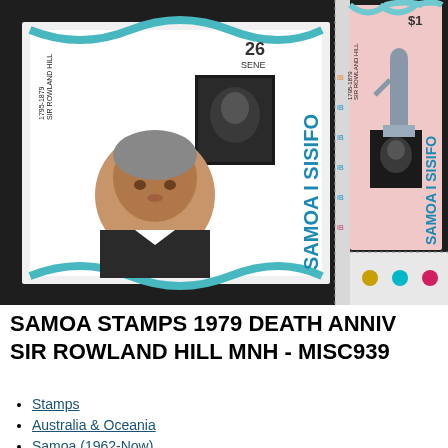[Figure (photo): Photograph of two Samoa I Sisifo stamps from 1979 commemorating the death anniversary of Sir Rowland Hill 1795-1879. Left stamp shows 26 Sene denomination with portrait of a man and Penny Black stamp image. Right stamp shows $1 denomination with a statue and Penny Black stamp image, set against dark background with printer's registration marks (yellow, cyan, magenta dots) visible on margin.]
SAMOA STAMPS 1979 DEATH ANNIV SIR ROWLAND HILL MNH - MISC939
Stamps
Australia & Oceania
Samoa (1962-Now)